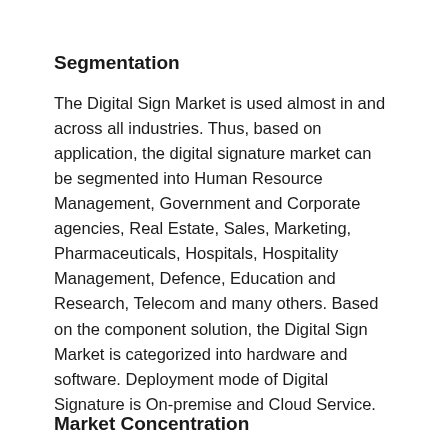Segmentation
The Digital Sign Market is used almost in and across all industries. Thus, based on application, the digital signature market can be segmented into Human Resource Management, Government and Corporate agencies, Real Estate, Sales, Marketing, Pharmaceuticals, Hospitals, Hospitality Management, Defence, Education and Research, Telecom and many others. Based on the component solution, the Digital Sign Market is categorized into hardware and software. Deployment mode of Digital Signature is On-premise and Cloud Service.
Market Concentration